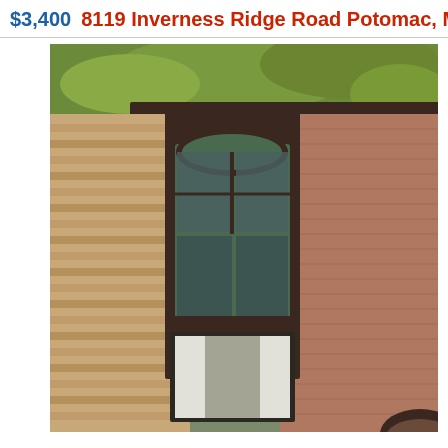$3,400  8119 Inverness Ridge Road Potomac, MD 20854
[Figure (photo): Exterior photo of a brick townhouse with brown/tan cedar shake siding on the left side, a large arched bay window with dark trim in the center, brick facade on the right, dark roof, and green trees visible at the top. A lower window with white curtains is partially visible at the bottom.]